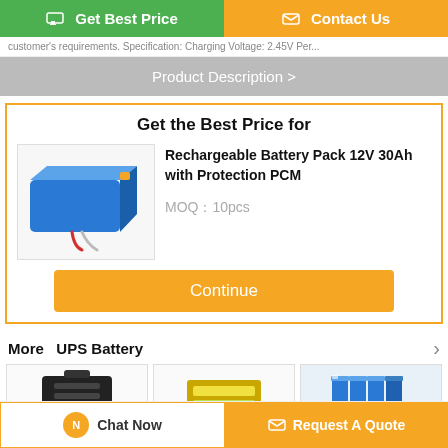[Figure (screenshot): Top navigation buttons: green 'Get Best Price' and orange 'Contact Us']
customer's requirements. Specification: Charging Voltage: 2.45V Per...
Product Description >
Get the Best Price for
[Figure (photo): Blue rectangular rechargeable battery pack with red/white wires]
Rechargeable Battery Pack 12V 30Ah with Protection PCM
MOQ：10pcs
Continue
More  UPS Battery
[Figure (photo): Black UPS battery product thumbnail]
[Figure (photo): Yellow/green battery pack product thumbnail]
[Figure (photo): Blue battery array product thumbnail]
Chat Now
Request A Quote